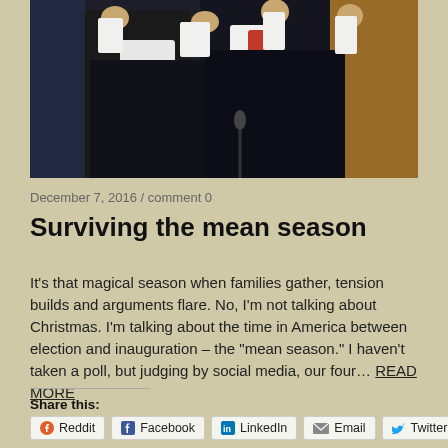[Figure (photo): Photo of a person in a dark suit with a red tie at a podium/microphone, with another person visible, against a background with blue/gold tones]
December 7, 2016 / comment 0
Surviving the mean season
It’s that magical season when families gather, tension builds and arguments flare. No, I’m not talking about Christmas. I’m talking about the time in America between election and inauguration – the “mean season.” I haven’t taken a poll, but judging by social media, our four… READ MORE
Share this:
Reddit
Facebook
LinkedIn
Email
Twitter